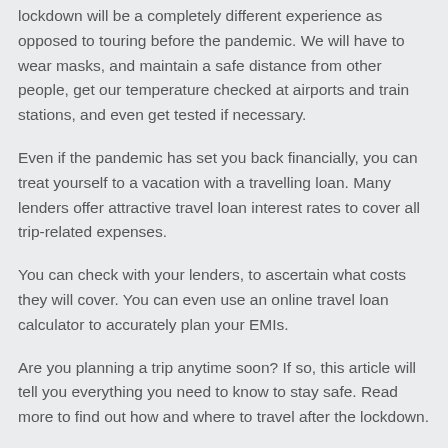lockdown will be a completely different experience as opposed to touring before the pandemic. We will have to wear masks, and maintain a safe distance from other people, get our temperature checked at airports and train stations, and even get tested if necessary.
Even if the pandemic has set you back financially, you can treat yourself to a vacation with a travelling loan. Many lenders offer attractive travel loan interest rates to cover all trip-related expenses.
You can check with your lenders, to ascertain what costs they will cover. You can even use an online travel loan calculator to accurately plan your EMIs.
Are you planning a trip anytime soon? If so, this article will tell you everything you need to know to stay safe. Read more to find out how and where to travel after the lockdown.
Travel essentials post-lockdown